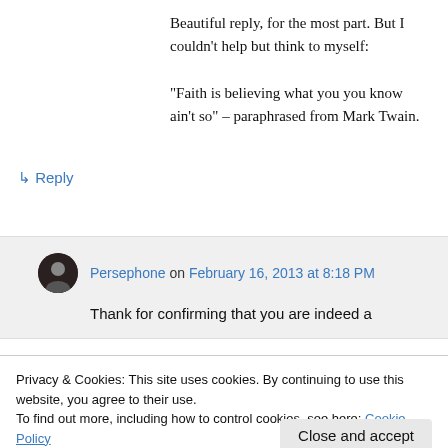Beautiful reply, for the most part. But I couldn't help but think to myself:

“Faith is believing what you you know ain’t so” – paraphrased from Mark Twain.
↳ Reply
Persephone on February 16, 2013 at 8:18 PM
Thank for confirming that you are indeed a
Privacy & Cookies: This site uses cookies. By continuing to use this website, you agree to their use.
To find out more, including how to control cookies, see here: Cookie Policy
Close and accept
Advertisements